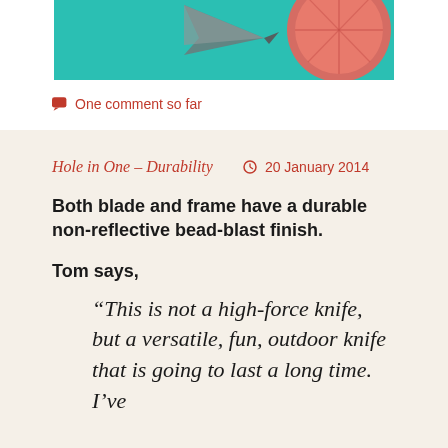[Figure (photo): Partial image of a knife blade and what appears to be citrus fruit on a teal/turquoise background, cropped at the top of the page.]
One comment so far
Hole in One – Durability   20 January 2014
Both blade and frame have a durable non-reflective bead-blast finish.
Tom says,
“This is not a high-force knife, but a versatile, fun, outdoor knife that is going to last a long time. I’ve